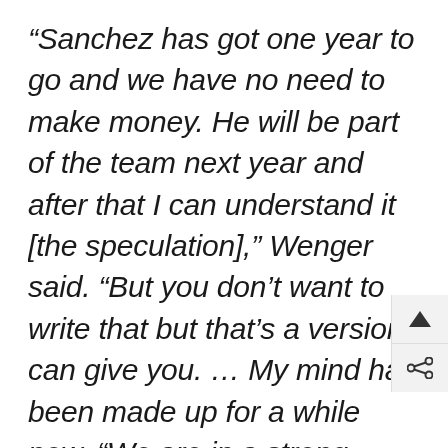“Sanchez has got one year to go and we have no need to make money. He will be part of the team next year and after that I can understand it [the speculation],” Wenger said. “But you don’t want to write that but that’s a version I can give you. … My mind has been made up for a while now. “We are in a strong financial situation so we want to keep our best players. You can see there is a fight everywhere